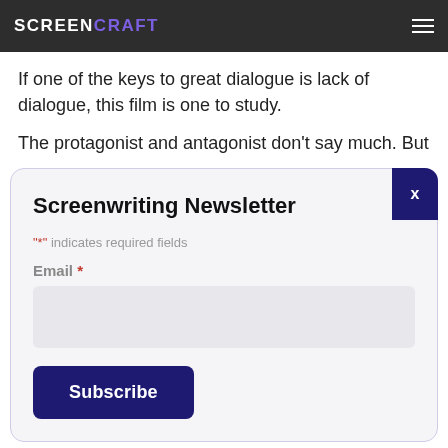SCREENCRAFT
If one of the keys to great dialogue is lack of dialogue, this film is one to study.
The protagonist and antagonist don't say much. But
Screenwriting Newsletter
"*" indicates required fields
Email *
Subscribe